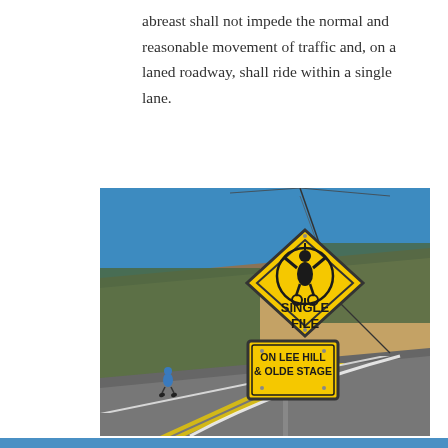abreast shall not impede the normal and reasonable movement of traffic and, on a laned roadway, shall ride within a single lane.
[Figure (photo): A road sign on a mountain road showing a yellow diamond-shaped sign with a cyclist icon and the text 'SINGLE FILE', below which is a yellow rectangular sign reading 'ON LEE HILL & OLDE STAGE'. A cyclist in blue is visible on the road in the background, with hillside trees and blue sky.]